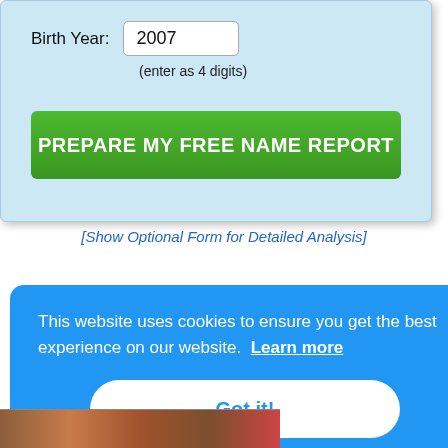Birth Year: 2007 (enter as 4 digits)
PREPARE MY FREE NAME REPORT
[Show Optional Form for Detailed Analysis]
This website uses cookies to ensure you get the best experience on our website. Learn more
Got it!
interest talking the after me and you require further assistance,